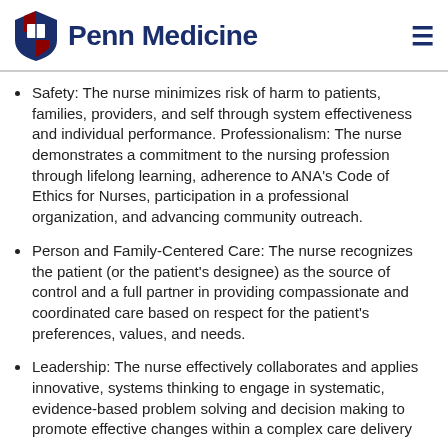Penn Medicine
Safety: The nurse minimizes risk of harm to patients, families, providers, and self through system effectiveness and individual performance. Professionalism: The nurse demonstrates a commitment to the nursing profession through lifelong learning, adherence to ANA's Code of Ethics for Nurses, participation in a professional organization, and advancing community outreach.
Person and Family-Centered Care: The nurse recognizes the patient (or the patient's designee) as the source of control and a full partner in providing compassionate and coordinated care based on respect for the patient's preferences, values, and needs.
Leadership: The nurse effectively collaborates and applies innovative, systems thinking to engage in systematic, evidence-based problem solving and decision making to promote effective changes within a complex care delivery…